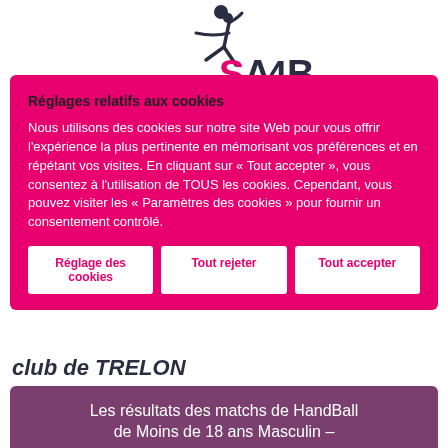[Figure (logo): SAHB handball club logo with stylized player figure and 'SAHB' text in dark blue and pink]
Réglages relatifs aux cookies
Nous utilisons des cookies sur notre site Web pour vous offrir l'expérience la plus pertinente en mémorisant vos préférences et en répétant vos visites. En cliquant sur « Tout accepter », vous consentez à l'utilisation de TOUS les cookies. Cependant, vous pouvez visiter les « Paramètres des cookies » pour fournir un consentement contrôlé.
Réglage des cookies
Tout rejeter
Tout accepter
club de TRELON
Les résultats des matchs de HandBall de Moins de 18 ans Masculin –